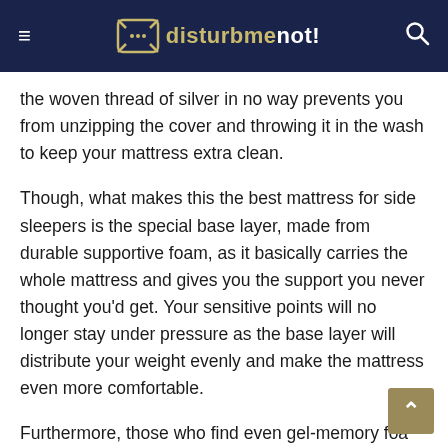disturbmenot!
the woven thread of silver in no way prevents you from unzipping the cover and throwing it in the wash to keep your mattress extra clean.
Though, what makes this the best mattress for side sleepers is the special base layer, made from durable supportive foam, as it basically carries the whole mattress and gives you the support you never thought you'd get. Your sensitive points will no longer stay under pressure as the base layer will distribute your weight evenly and make the mattress even more comfortable.
Furthermore, those who find even gel-memory foam too hot to sleep on will love that Recore uses graphite-infused latex foam for better breathability and heat